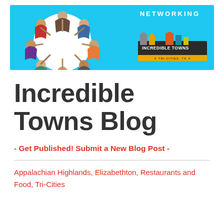[Figure (photo): Banner image with light blue background. Left side shows aerial view of people gathered around a white circular table. Right side shows 'NETWORKING' text in white and the Incredible Towns Tri-Cities, TN logo with colorful city buildings.]
Incredible Towns Blog
- Get Published! Submit a New Blog Post -
Appalachian Highlands, Elizabethton, Restaurants and Food, Tri-Cities